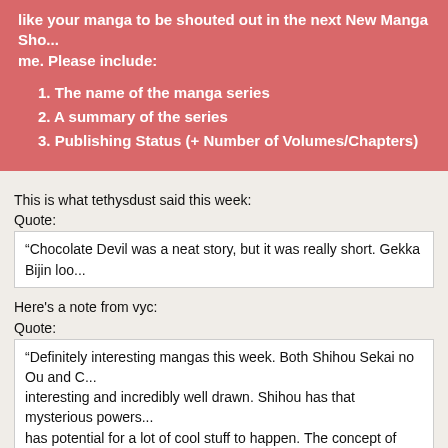like your manga to be shouted out in the next New Manga Sho... me. Please include:
1. The name of the manga series
2. A summary of the series
3. Publishing Status (+ Number of Volumes/Chapters)
This is what tethysdust said this week:
Quote:
“Chocolate Devil was a neat story, but it was really short. Gekka Bijin loo...
Here's a note from vyc:
Quote:
“Definitely interesting mangas this week. Both Shihou Sekai no Ou and C... interesting and incredibly well drawn. Shihou has that mysterious powers... has potential for a lot of cool stuff to happen. The concept of taking an a... putting a modern spin to it seems really awesome. It has already been p... chapters so can't wait for the rest. Gekka Bijin takes a different spin on th... The life lessons that she is about to learn is going to be really touching b... and action along the way. I think a lot of readers will be able to relate to t...
My opinion: Gekka Bijin looks the most interesting of the bunch while Nel... cute slice-of-life manga. I might check out Shihou Sekai no Ou seeing it h... hopefully it'll continue getting scanlated. Thanks go to spiritovod for telling...
Reading some of the comments in the previous news posts, some people... to continue with those "new manga shout outs." However, those raws can...